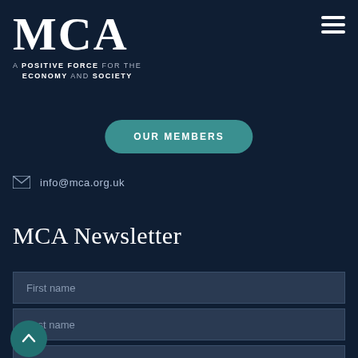[Figure (logo): MCA logo with serif MCA text and tagline 'A POSITIVE FORCE FOR THE ECONOMY AND SOCIETY']
[Figure (other): Hamburger menu icon (three horizontal white lines)]
OUR MEMBERS
info@mca.org.uk
MCA Newsletter
First name
Last name
Email